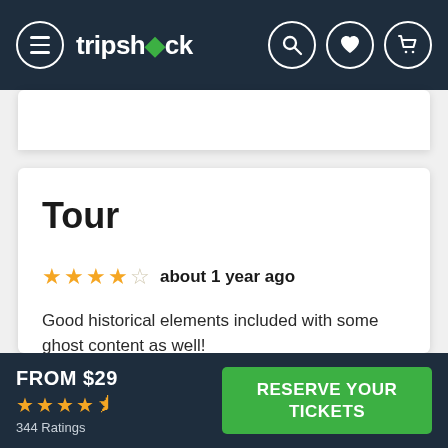tripshock
Tour
★★★★☆ about 1 year ago
Good historical elements included with some ghost content as well!
Cayle Koennecke
FROM $29 ★★★★½ 344 Ratings RESERVE YOUR TICKETS